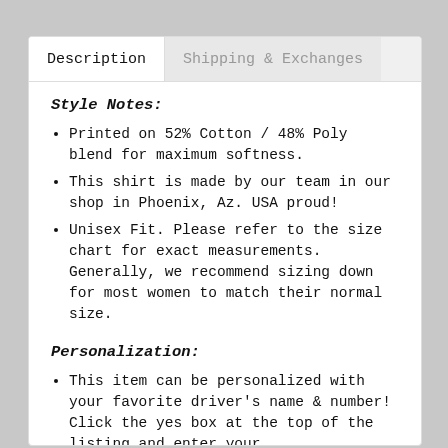Style Notes:
Printed on 52% Cotton / 48% Poly blend for maximum softness.
This shirt is made by our team in our shop in Phoenix, Az. USA proud!
Unisex Fit. Please refer to the size chart for exact measurements. Generally, we recommend sizing down for most women to match their normal size.
Personalization:
This item can be personalized with your favorite driver's name & number! Click the yes box at the top of the listing and enter your personalization details. You can choose